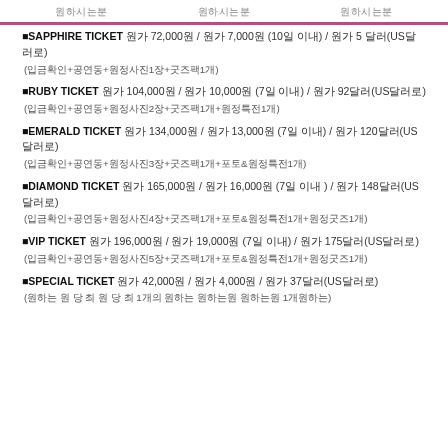원하시는분 | 원하시는분 | 원하시는분
■SAPPHIRE TICKET 원가 72,000원 / 원가 7,000원 (10일 이내) / 원가 5 달러(US달러로) (입금확인+공연동+원정사진1장+굿즈팩1개)
■RUBY TICKET 원가 104,000원 / 원가 10,000원 (7일 이내) / 원가 92달러(US달러로) (입금확인+공연동+원정사진2장+굿즈팩1개+원정특전1개)
■EMERALD TICKET 원가 134,000원 / 원가 13,000원 (7일 이내) / 원가 120달러(US달러로) (입금확인+공연동+원정사진3장+굿즈팩1개+포토&원정특전1개)
■DIAMOND TICKET 원가 165,000원 / 원가 16,000원 (7일 이내 ) / 원가 148달러(US달러로) (입금확인+공연동+원정사진4장+굿즈팩1개+포토&원정특전1개+원정굿즈1개)
■VIP TICKET 원가 196,000원 / 원가 19,000원 (7일 이내) / 원가 175달러(US달러로) (입금확인+공연동+원정사진5장+굿즈팩1개+포토&원정특전1개+원정굿즈1개)
■SPECIAL TICKET 원가 42,000원 / 원가 4,000원 / 원가 37달러(US달러로) (원하는 원 당 최 원 당 최 1개의 원하는 원하는원 원하는원 1개원하는)